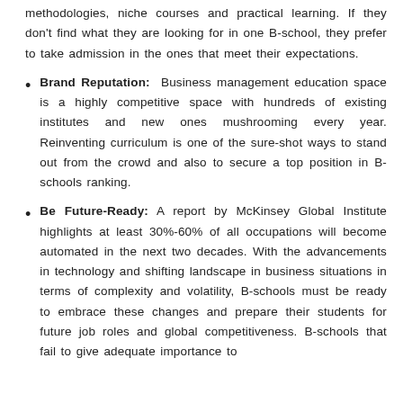methodologies, niche courses and practical learning. If they don't find what they are looking for in one B-school, they prefer to take admission in the ones that meet their expectations.
Brand Reputation: Business management education space is a highly competitive space with hundreds of existing institutes and new ones mushrooming every year. Reinventing curriculum is one of the sure-shot ways to stand out from the crowd and also to secure a top position in B-schools ranking.
Be Future-Ready: A report by McKinsey Global Institute highlights at least 30%-60% of all occupations will become automated in the next two decades. With the advancements in technology and shifting landscape in business situations in terms of complexity and volatility, B-schools must be ready to embrace these changes and prepare their students for future job roles and global competitiveness. B-schools that fail to give adequate importance to